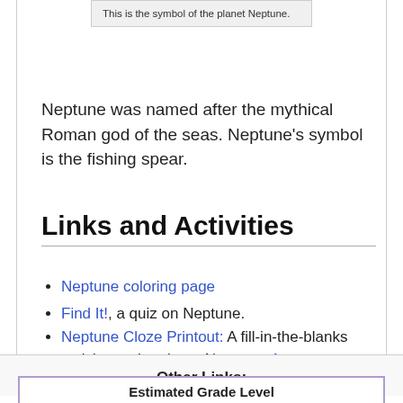This is the symbol of the planet Neptune.
Neptune was named after the mythical Roman god of the seas. Neptune's symbol is the fishing spear.
Links and Activities
Neptune coloring page
Find It!, a quiz on Neptune.
Neptune Cloze Printout: A fill-in-the-blanks activity on the planet Neptune. Answers
An interactive puzzle about Neptune
How to write a report on a planet - plus a rubric.
Other Links:
Estimated Grade Level